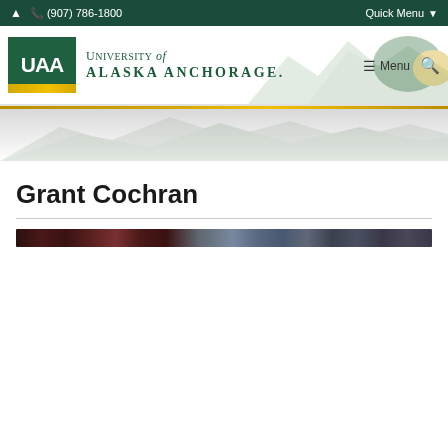(907) 786-1800  Quick Menu
[Figure (logo): University of Alaska Anchorage logo with UAA in green box and university name]
Grant Cochran
[Figure (photo): A narrow horizontal image strip, appears to be a cropped photograph with dark reddish-brown and blue-grey tones]